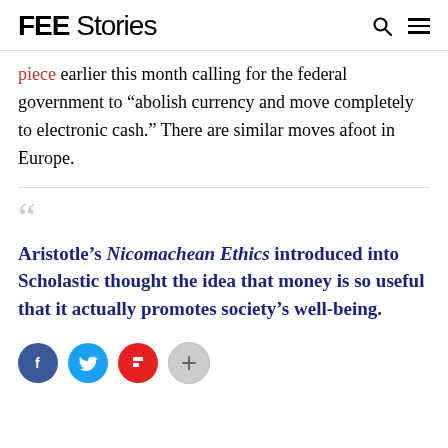FEE Stories
piece earlier this month calling for the federal government to ‚bolish currency and move completely to electronic cash.” There are similar moves afoot in Europe.
Aristotle’s Nicomachean Ethics introduced into Scholastic thought the idea that money is so useful that it actually promotes society’s well-being.
[Figure (other): Social sharing buttons: Facebook, Twitter, Flipboard, and a share/more button]